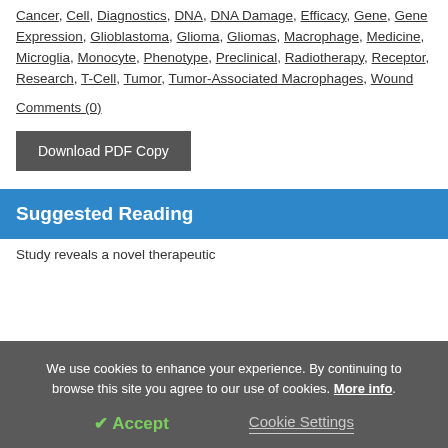Cancer, Cell, Diagnostics, DNA, DNA Damage, Efficacy, Gene, Gene Expression, Glioblastoma, Glioma, Gliomas, Macrophage, Medicine, Microglia, Monocyte, Phenotype, Preclinical, Radiotherapy, Receptor, Research, T-Cell, Tumor, Tumor-Associated Macrophages, Wound
Comments (0)
Download PDF Copy
Suggested Reading
Study reveals a novel therapeutic
We use cookies to enhance your experience. By continuing to browse this site you agree to our use of cookies. More info.
✔ Accept
Cookie Settings